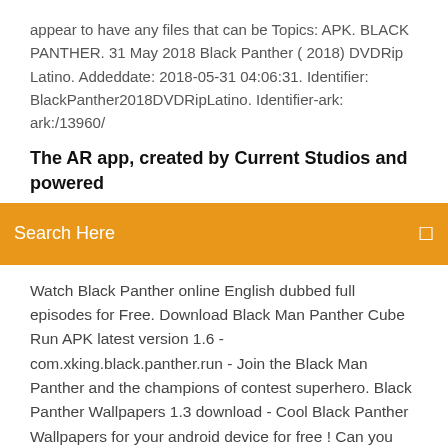appear to have any files that can be Topics: APK. BLACK PANTHER. 31 May 2018 Black Panther ( 2018) DVDRip Latino. Addeddate: 2018-05-31 04:06:31. Identifier: BlackPanther2018DVDRipLatino. Identifier-ark: ark:/13960/
The AR app, created by Current Studios and powered
Search Here
Watch Black Panther online English dubbed full episodes for Free. Download Black Man Panther Cube Run APK latest version 1.6 - com.xking.black.panther.run - Join the Black Man Panther and the champions of contest superhero. Black Panther Wallpapers 1.3 download - Cool Black Panther Wallpapers for your android device for free ! Can you smell a danger ? ? Answer the call of... Download Hungry Black Panther Revenge APK latest version 1.2 for android devices. - Free Simulation Games for Android Get the best Black Panther Wallpapers Wallpapers. Get Select the best HD background and...